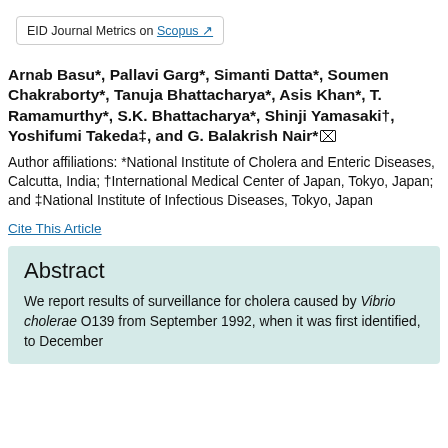EID Journal Metrics on Scopus ↗
Arnab Basu*, Pallavi Garg*, Simanti Datta*, Soumen Chakraborty*, Tanuja Bhattacharya*, Asis Khan*, T. Ramamurthy*, S.K. Bhattacharya*, Shinji Yamasaki†, Yoshifumi Takeda‡, and G. Balakrish Nair*✉
Author affiliations: *National Institute of Cholera and Enteric Diseases, Calcutta, India; †International Medical Center of Japan, Tokyo, Japan; and ‡National Institute of Infectious Diseases, Tokyo, Japan
Cite This Article
Abstract
We report results of surveillance for cholera caused by Vibrio cholerae O139 from September 1992, when it was first identified, to December